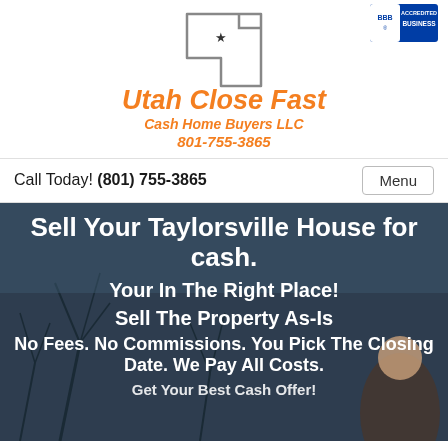[Figure (logo): Utah Close Fast Cash Home Buyers LLC logo with Utah state outline shape and star, orange italic bold text, BBB Accredited Business badge in top right]
Call Today! (801) 755-3865
Menu
[Figure (photo): Dark background photo of bare winter trees and a person, overlaid with white bold text]
Sell Your Taylorsville House for cash.
Your In The Right Place!
Sell The Property As-Is
No Fees. No Commissions. You Pick The Closing Date. We Pay All Costs.
Get Your Best Cash Offer!